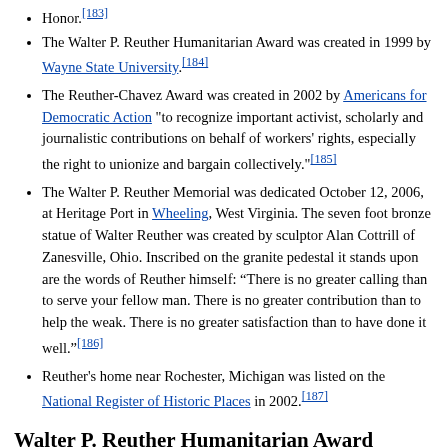Honor.[183]
The Walter P. Reuther Humanitarian Award was created in 1999 by Wayne State University.[184]
The Reuther-Chavez Award was created in 2002 by Americans for Democratic Action "to recognize important activist, scholarly and journalistic contributions on behalf of workers' rights, especially the right to unionize and bargain collectively."[185]
The Walter P. Reuther Memorial was dedicated October 12, 2006, at Heritage Port in Wheeling, West Virginia. The seven foot bronze statue of Walter Reuther was created by sculptor Alan Cottrill of Zanesville, Ohio. Inscribed on the granite pedestal it stands upon are the words of Reuther himself: “There is no greater calling than to serve your fellow man. There is no greater contribution than to help the weak. There is no greater satisfaction than to have done it well.”[186]
Reuther's home near Rochester, Michigan was listed on the National Register of Historic Places in 2002.[187]
Walter P. Reuther Humanitarian Award
In 1999, Wayne State University, in collaboration with the UAW and the Reuther family, created the Walter P. Reuther Humanitarian Award to honor individuals who embody the spirit, vision, and